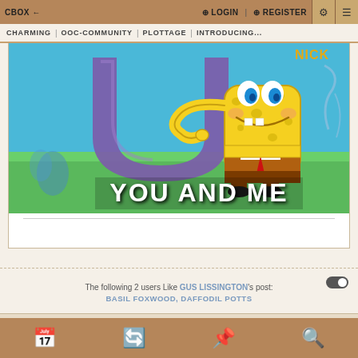CBOX ← | LOGIN | REGISTER
CHARMING | OOC-COMMUNITY | PLOTTAGE | INTRODUCING...
[Figure (illustration): SpongeBob SquarePants meme image with text 'YOU AND ME', SpongeBob pointing finger-guns, large purple letter U in background, blue sky and green grass background, NICK watermark top right]
The following 2 users Like GUS LISSINGTON's post:
BASIL FOXWOOD, DAFFODIL POTTS
JANUARY 28, 2022 - 1:59 PM
#7
Daffodil Potts — Played by Bee
FLORIST AT THE FLORIST POTTS